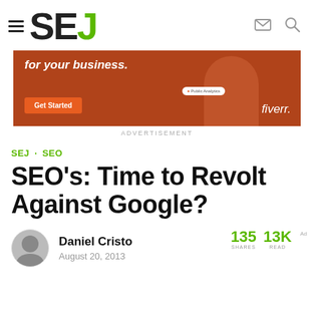SEJ (Search Engine Journal) website header with logo and navigation icons
[Figure (photo): Fiverr advertisement banner with orange/brown background showing 'for your business.' text, Get Started button, and a person with arms crossed]
ADVERTISEMENT
SEJ · SEO
SEO's: Time to Revolt Against Google?
Daniel Cristo
August 20, 2013
135 SHARES  13K READ